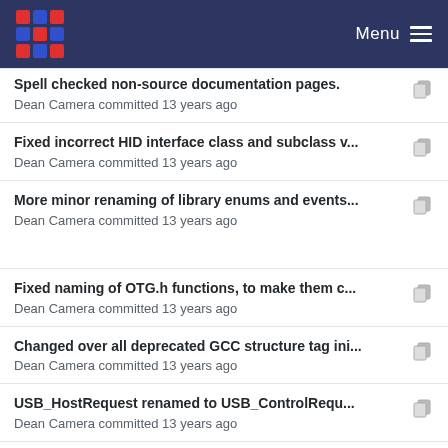Menu
Spell checked non-source documentation pages.
Dean Camera committed 13 years ago
Fixed incorrect HID interface class and subclass v...
Dean Camera committed 13 years ago
More minor renaming of library enums and events...
Dean Camera committed 13 years ago
Fixed naming of OTG.h functions, to make them c...
Dean Camera committed 13 years ago
Changed over all deprecated GCC structure tag ini...
Dean Camera committed 13 years ago
USB_HostRequest renamed to USB_ControlRequ...
Dean Camera committed 13 years ago